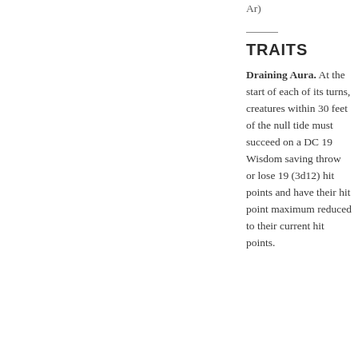Ar)
TRAITS
Draining Aura. At the start of each of its turns, creatures within 30 feet of the null tide must succeed on a DC 19 Wisdom saving throw or lose 19 (3d12) hit points and have their hit point maximum reduced to their current hit points.